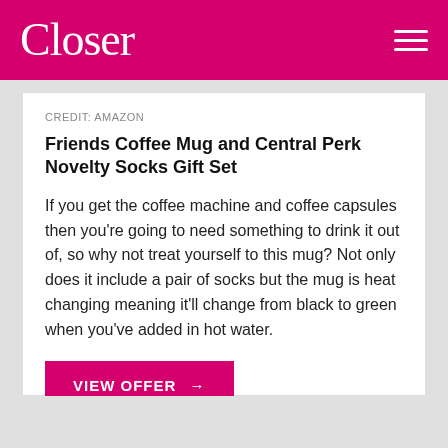Closer
CREDIT: AMAZON
Friends Coffee Mug and Central Perk Novelty Socks Gift Set
If you get the coffee machine and coffee capsules then you're going to need something to drink it out of, so why not treat yourself to this mug? Not only does it include a pair of socks but the mug is heat changing meaning it'll change from black to green when you've added in hot water.
VIEW OFFER →